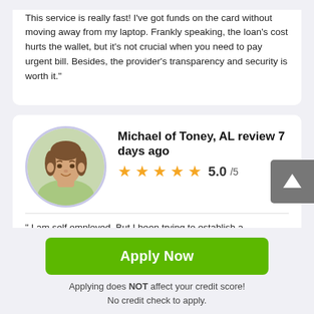This service is really fast! I've got funds on the card without moving away from my laptop. Frankly speaking, the loan's cost hurts the wallet, but it's not crucial when you need to pay urgent bill. Besides, the provider's transparency and security is worth it."
Michael of Toney, AL review 7 days ago
5.0/5
" I am self employed. But I been trying to establish a relationship with you so when there are incidents that actually happen in between pay period there would be a place I could go to. I have a salon which my employees pay
Apply Now
Applying does NOT affect your credit score!
No credit check to apply.